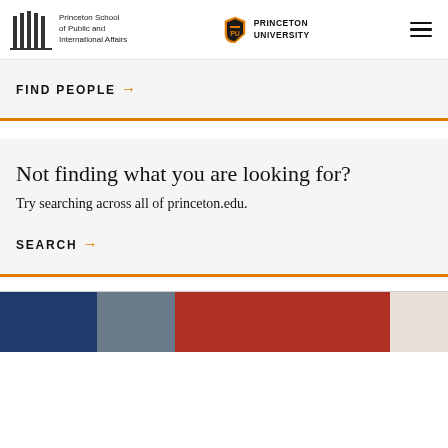Princeton School of Public and International Affairs | Princeton University
FIND PEOPLE →
Not finding what you are looking for?
Try searching across all of princeton.edu.
SEARCH →
[Figure (photo): Partial view of a photo showing blue, gray, red, and white colors, likely flags or textiles]